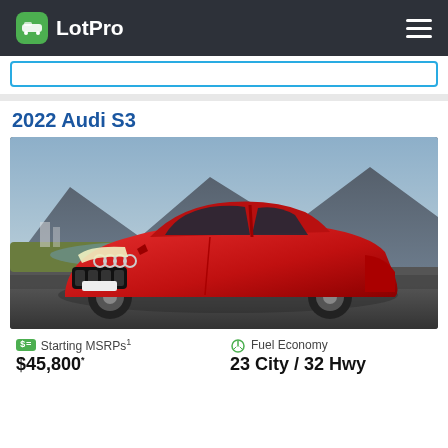LotPro
2022 Audi S3
[Figure (photo): Red 2022 Audi S3 sedan photographed outdoors with mountain and lake in the background]
Starting MSRPs¹ $45,800*
Fuel Economy 23 City / 32 Hwy